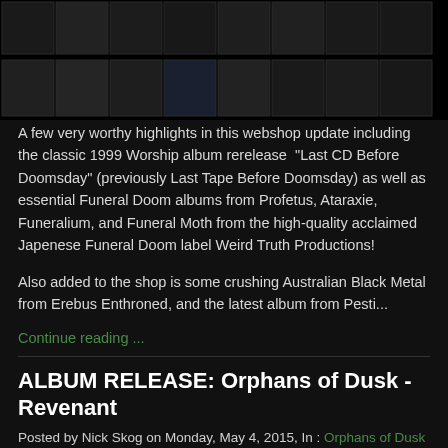[Figure (photo): A strip of dark metal album cover thumbnails arranged in two rows against a black background.]
A few very worthy highlights in this webshop update including the classic 1999 Worship album rerelease "Last CD Before Doomsday" (previously Last Tape Before Doomsday) as well as essential Funeral Doom albums from Profetus, Ataraxie, Funeralium, and Funeral Moth from the high-quality acclaimed Japenese Funeral Doom label Weird Truth Productions!
Also added to the shop is some crushing Australian Black Metal from Erebus Enthroned, and the latest album from Pesti...
Continue reading ...
ALBUM RELEASE: Orphans of Dusk - Revenant
Posted by Nick Skog on Monday, May 4, 2015, In : Orphans of Dusk
May 4, 2015
The CD edition of the Orphans of Dusk - Revenant album is finally available through Hypnotic Dirge Records and Solitude Productions! Initially, the band self-released their debut EP digitallyin the summer of 2014 but after some really